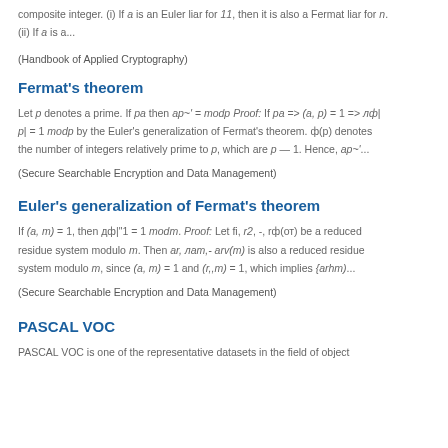composite integer. (i) If a is an Euler liar for 11, then it is also a Fermat liar for n. (ii) If a is a...
(Handbook of Applied Cryptography)
Fermat's theorem
Let p denotes a prime. If pa then ap~' = modp Proof: If pa => (a, p) = 1 => nф|p| = 1 modp by the Euler's generalization of Fermat's theorem. ф(p) denotes the number of integers relatively prime to p, which are p — 1. Hence, ap~'...
(Secure Searchable Encryption and Data Management)
Euler's generalization of Fermat's theorem
If (a, m) = 1, then дф|"1 = 1 modm. Proof: Let fi, r2, -, rф(от) be a reduced residue system modulo m. Then ar, лam,- arv(m) is also a reduced residue system modulo m, since (a, m) = 1 and (r,,m) = 1, which implies {arhm)...
(Secure Searchable Encryption and Data Management)
PASCAL VOC
PASCAL VOC is one of the representative datasets in the field of object